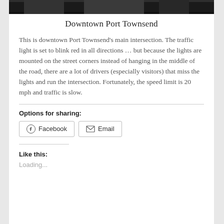[Figure (photo): Black and white photo of downtown Port Townsend street scene, shown as a dark strip at top of page]
Downtown Port Townsend
This is downtown Port Townsend's main intersection. The traffic light is set to blink red in all directions … but because the lights are mounted on the street corners instead of hanging in the middle of the road, there are a lot of drivers (especially visitors) that miss the lights and run the intersection. Fortunately, the speed limit is 20 mph and traffic is slow.
Options for sharing:
Facebook  Email
Like this:
Loading...